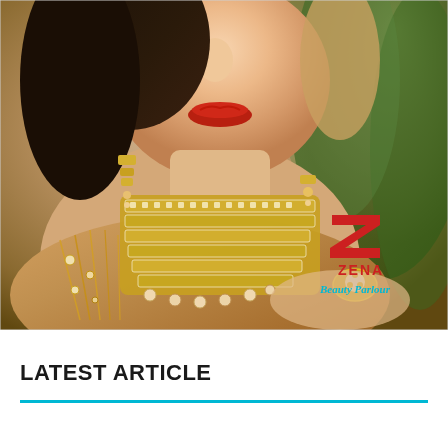[Figure (photo): A woman wearing elaborate gold jewelry including a large rhinestone choker necklace and dangling earrings with pearl drops, a jeweled ring, and an embellished traditional outfit. She has red lipstick and dark hair. The image has a 'Zena Beauty Parlour' logo overlay in the upper right area of the photo.]
LATEST ARTICLE